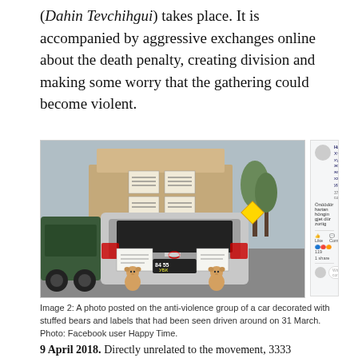(Dahin Tevchihgui) takes place. It is accompanied by aggressive exchanges online about the death penalty, creating division and making some worry that the gathering could become violent.
[Figure (photo): A photo of a car (Toyota) decorated with stuffed teddy bears on the rear bumper and papers/labels on the trunk and rooftop, with license plate 84 55 УБК, driving in city traffic. Next to it is a Facebook post screenshot from user Happy Time showing the same photo with Mongolian text and Facebook interaction buttons.]
Image 2: A photo posted on the anti-violence group of a car decorated with stuffed bears and labels that had been seen driven around on 31 March. Photo: Facebook user Happy Time.
9 April 2018. Directly unrelated to the movement, 3333